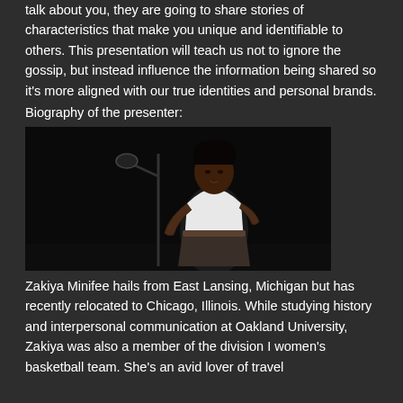talk about you, they are going to share stories of characteristics that make you unique and identifiable to others. This presentation will teach us not to ignore the gossip, but instead influence the information being shared so it's more aligned with our true identities and personal brands.
Biography of the presenter:
[Figure (photo): A woman standing at a microphone on a dark stage, wearing a white top and dark skirt, gesturing with her hands while speaking.]
Zakiya Minifee hails from East Lansing, Michigan but has recently relocated to Chicago, Illinois. While studying history and interpersonal communication at Oakland University, Zakiya was also a member of the division I women's basketball team. She's an avid lover of travel